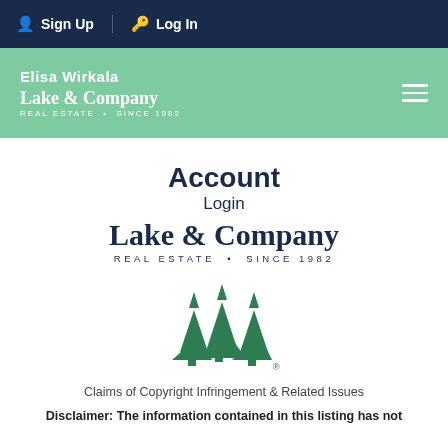Sign Up  Log In
[Figure (logo): Elisa Wirkala / Lake & Company Real Estate Since 1982 brand bar with teal background and hamburger menu]
Account
Login
[Figure (logo): Lake & Company Real Estate Since 1982 logo in dark navy]
[Figure (logo): NWMLS three green tree arrows logo with registered trademark symbol]
Claims of Copyright Infringement & Related Issues
Disclaimer: The information contained in this listing has not